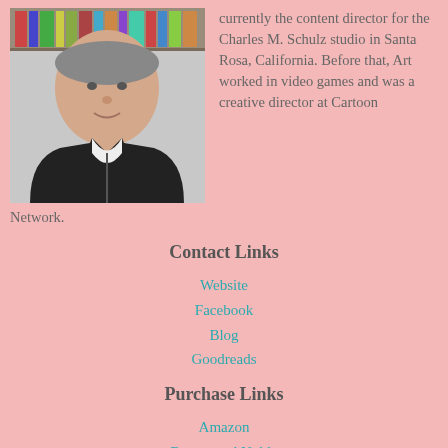[Figure (photo): Headshot of a middle-aged man wearing a black jacket over a white shirt, with bookshelves visible in the background.]
currently the content director for the Charles M. Schulz studio in Santa Rosa, California. Before that, Art worked in video games and was a creative director at Cartoon Network.
Contact Links
Website
Facebook
Blog
Goodreads
Purchase Links
Amazon
Barnes and Noble
Kobo
iBooks